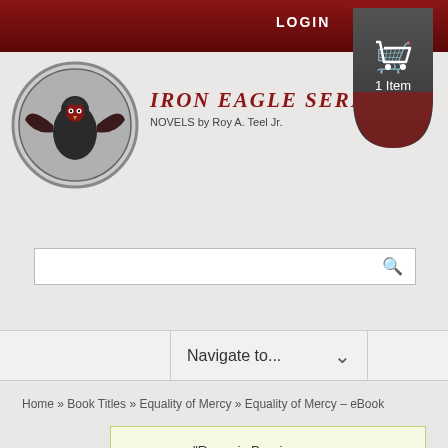LOGIN
[Figure (logo): Iron Eagle Series logo with eagle and shield, cart icon showing 1 Item]
[Figure (logo): Iron Eagle Series circular logo with eagle wings]
IRON EAGLE SERIES
NOVELS by Roy A. Teel Jr.
[Figure (screenshot): Search input box with magnifying glass icon]
Navigate to...
Home » Book Titles » Equality of Mercy » Equality of Mercy – eBook
"Rome is Burning – eBook" has been added to your cart.